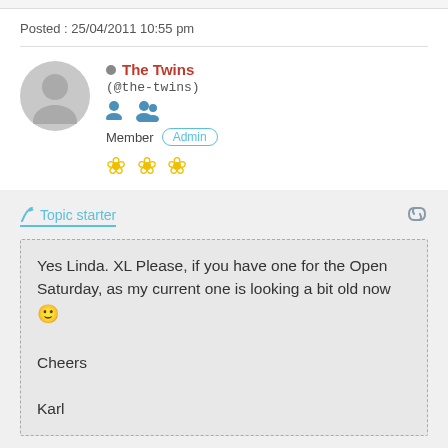Posted : 25/04/2011 10:55 pm
The Twins (@the-twins) Member Admin
Topic starter
Yes Linda. XL Please, if you have one for the Open Saturday, as my current one is looking a bit old now 🙂

Cheers

Karl
We have a few XL that I ordered last month, so you can